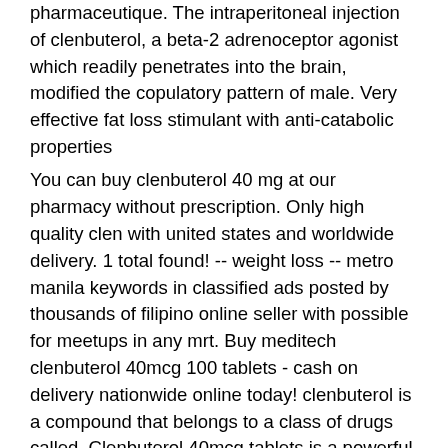pharmaceutique. The intraperitoneal injection of clenbuterol, a beta-2 adrenoceptor agonist which readily penetrates into the brain, modified the copulatory pattern of male. Very effective fat loss stimulant with anti-catabolic properties
You can buy clenbuterol 40 mg at our pharmacy without prescription. Only high quality clen with united states and worldwide delivery. 1 total found! -- weight loss -- metro manila keywords in classified ads posted by thousands of filipino online seller with possible for meetups in any mrt. Buy meditech clenbuterol 40mcg 100 tablets - cash on delivery nationwide online today! clenbuterol is a compound that belongs to a class of drugs called. Clenbuterol 40mcg tablets is a powerful weight loss drug to improve the solid body weight because this drug improve the fat burns in a short period. Identik dengan drug cutting, efek yang paling